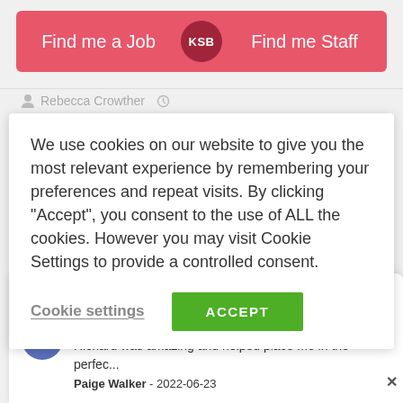[Figure (screenshot): Navigation bar with pink/red background showing 'Find me a Job' on the left, a dark red KSB circle logo in the center, and 'Find me Staff' on the right]
Rebecca Crowther
We use cookies on our website to give you the most relevant experience by remembering your preferences and repeat visits. By clicking “Accept”, you consent to the use of ALL the cookies. However you may visit Cookie Settings to provide a controlled consent.
Cookie settings
ACCEPT
[Figure (screenshot): Google review card showing 5 gold stars, Google G logo, a blue avatar with 'P', review text 'Responsive and attentive to my personal career needs. Richard was amazing and helped place me in the perfec...', reviewer name 'Paige Walker - 2022-06-23']